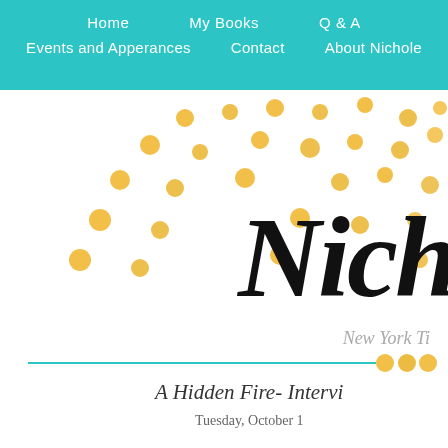Home   My Books   Q & A   Events and Apperances   Contact   About Nichole
[Figure (illustration): Gold confetti dots scattered across white background area below navigation]
Nich
New York Ti
A Hidden Fire- Intervi
Tuesday, October 1